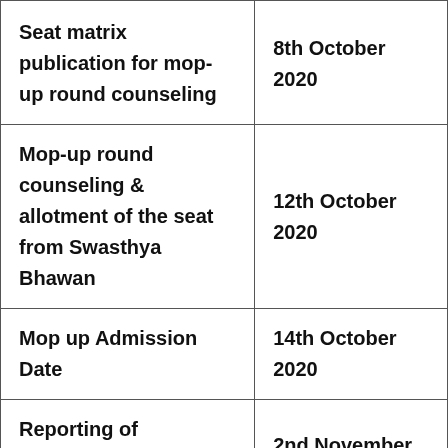| Seat matrix publication for mop-up round counseling | 8th October 2020 |
| Mop-up round counseling & allotment of the seat from Swasthya Bhawan | 12th October 2020 |
| Mop up Admission Date | 14th October 2020 |
| Reporting of Candidates | 2nd November |